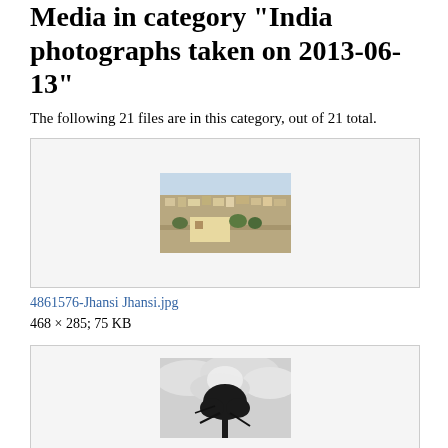Media in category "India photographs taken on 2013-06-13"
The following 21 files are in this category, out of 21 total.
[Figure (photo): Thumbnail box showing aerial/cityscape view of Jhansi, India]
4861576-Jhansi Jhansi.jpg
468 × 285; 75 KB
[Figure (photo): Thumbnail box showing a tree silhouette against cloudy sky]